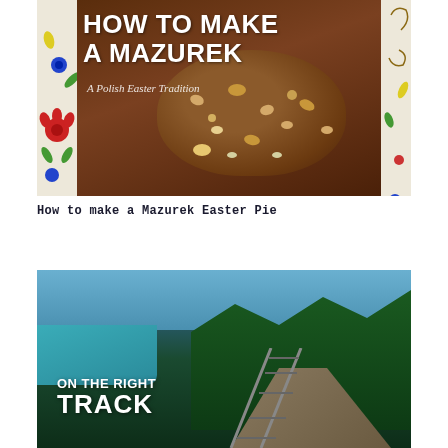[Figure (photo): Overhead photo of a Mazurek Easter pie decorated with nuts and seeds on a floral embroidered cloth, with text overlay 'HOW TO MAKE A MAZUREK – A Polish Easter Tradition']
How to make a Mazurek Easter Pie
[Figure (photo): Aerial photo of a train track along a river gorge with dense forest, with text overlay 'ON THE RIGHT TRACK']